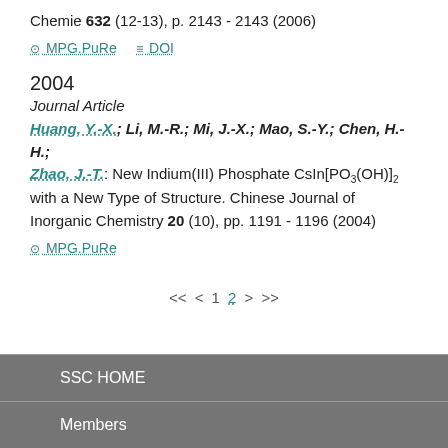Chemie 632 (12-13), p. 2143 - 2143 (2006)
MPG.PuRe   DOI
2004
Journal Article
Huang, Y.-X.; Li, M.-R.; Mi, J.-X.; Mao, S.-Y.; Chen, H.-H.; Zhao, J.-T.: New Indium(III) Phosphate CsIn[PO3(OH)]2 with a New Type of Structure. Chinese Journal of Inorganic Chemistry 20 (10), pp. 1191 - 1196 (2004)
MPG.PuRe
<< < 1 2 > >>
SSC HOME
Members